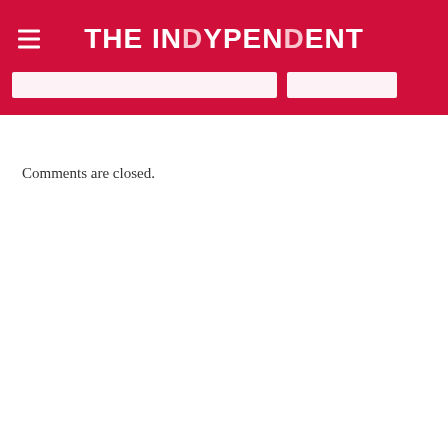THE INDYPENDENT
Comments are closed.